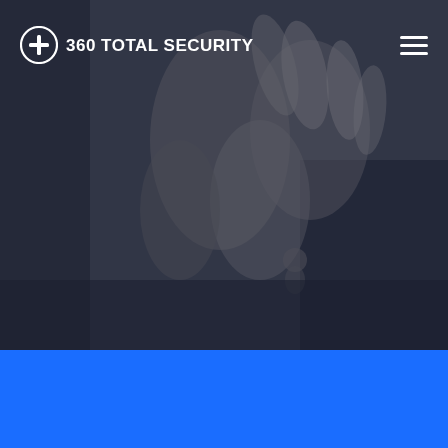[Figure (screenshot): 360 Total Security website screenshot. Top navigation bar with logo (shield icon with plus sign and '360 TOTAL SECURITY' text in white) on the left, hamburger menu icon on the right. Background is a blurry dark photo of hands holding a mobile device. Bottom portion of the page is a solid bright blue (#1a6dff) section.]
360 TOTAL SECURITY